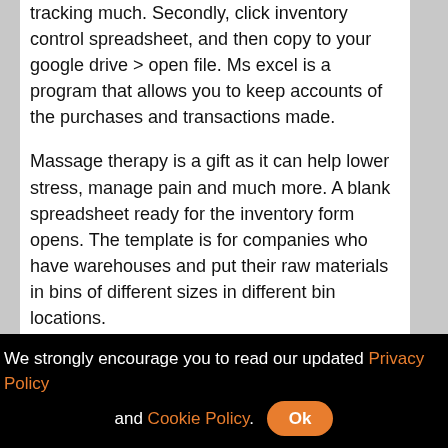tracking much. Secondly, click inventory control spreadsheet, and then copy to your google drive > open file. Ms excel is a program that allows you to keep accounts of the purchases and transactions made.
Massage therapy is a gift as it can help lower stress, manage pain and much more. A blank spreadsheet ready for the inventory form opens. The template is for companies who have warehouses and put their raw materials in bins of different sizes in different bin locations.
Below are the steps for making an inventory spreadsheet with the help of microsoft excel. Sample inventory tracking system sample fuel inventory
We strongly encourage you to read our updated Privacy Policy and Cookie Policy. Ok